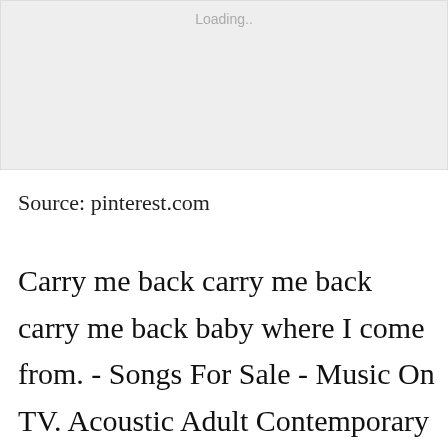[Figure (other): Gray placeholder image area with 'Loading..' text in light gray at top center]
Source: pinterest.com
Carry me back carry me back carry me back baby where I come from. - Songs For Sale - Music On TV. Acoustic Adult Contemporary African Alternative Avant-Garde Blues Childrens Music Christian Classical Comedy Country Dance Electronic Folk Funk Hip HopRap Holiday Instrumental Jazz